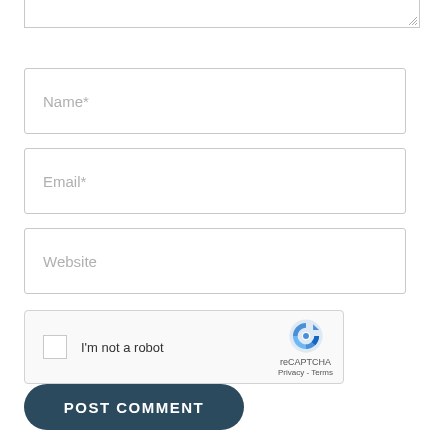[Figure (screenshot): Top portion of a textarea input field (truncated at top of page), with resize handle visible at bottom-right corner]
Name*
Email*
Website
[Figure (screenshot): reCAPTCHA widget with checkbox labeled 'I'm not a robot', reCAPTCHA logo, and Privacy/Terms links]
POST COMMENT